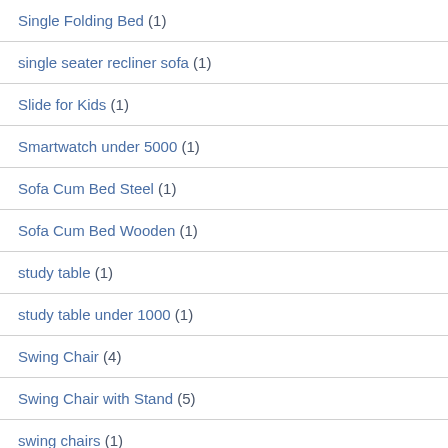Single Folding Bed (1)
single seater recliner sofa (1)
Slide for Kids (1)
Smartwatch under 5000 (1)
Sofa Cum Bed Steel (1)
Sofa Cum Bed Wooden (1)
study table (1)
study table under 1000 (1)
Swing Chair (4)
Swing Chair with Stand (5)
swing chairs (1)